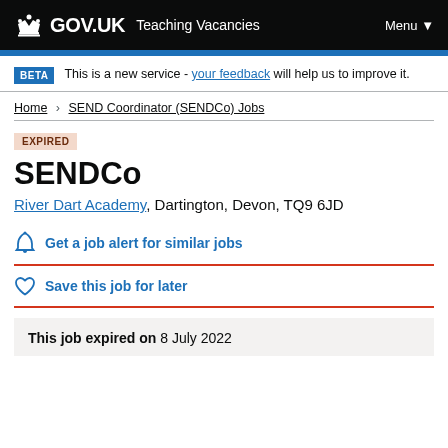GOV.UK Teaching Vacancies Menu
BETA This is a new service - your feedback will help us to improve it.
Home > SEND Coordinator (SENDCo) Jobs
EXPIRED
SENDCo
River Dart Academy, Dartington, Devon, TQ9 6JD
Get a job alert for similar jobs
Save this job for later
This job expired on 8 July 2022